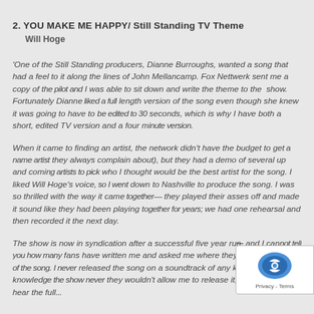2. YOU MAKE ME HAPPY/ Still Standing TV Theme
    Will Hoge
'One of the Still Standing producers, Dianne Burroughs, wanted a song that had a feel to it along the lines of John Mellancamp. Fox Nettwerk sent me a copy of the pilot and I was able to sit down and write the theme to the show. Fortunately Dianne liked a full length version of the song even though she knew it was going to have to be edited to 30 seconds, which is why I have both a short, edited TV version and a four m...
When it came to finding an artist, the network didn't have the budget to ge... (they always complain about), but they had a demo of several up and comi... who I thought would be the best artist for the song. I liked Will Hoge's voic... down to Nashville to produce the song. I was so thrilled with the way it cam... they played their asses off and made it sound like they had been playing t... we had one rehearsal and then recorded it the next day.
The show is now in syndication after a successful five year run, and I can... fans have written me and asked me where they can find a co... released the song on a soundtrack of any kind to my knowled... they wouldn't allow me to release it, so if you want to hear the full...